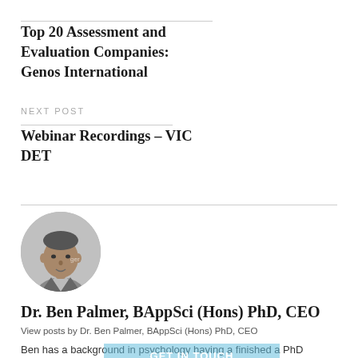Top 20 Assessment and Evaluation Companies: Genos International
NEXT POST
Webinar Recordings – VIC DET
[Figure (photo): Black and white circular headshot photo of Dr. Ben Palmer, a man in a suit jacket]
Dr. Ben Palmer, BAppSci (Hons) PhD, CEO
View posts by Dr. Ben Palmer, BAppSci (Hons) PhD, CEO
Ben has a background in psychology having a finished a PhD